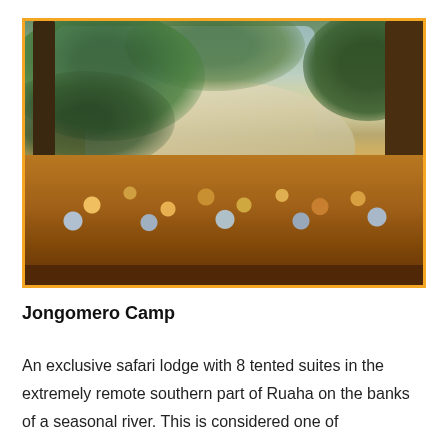[Figure (photo): Outdoor dining table set for a meal at a safari camp, surrounded by large trees, with a sandy dry riverbed visible in the background at golden hour light.]
Jongomero Camp
An exclusive safari lodge with 8 tented suites in the extremely remote southern part of Ruaha on the banks of a seasonal river. This is considered one of